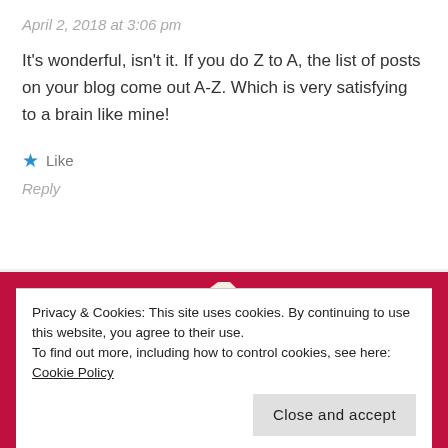April 2, 2018 at 3:06 pm
It's wonderful, isn't it. If you do Z to A, the list of posts on your blog come out A-Z. Which is very satisfying to a brain like mine!
★ Like
Reply
[Figure (illustration): Pixelated/zigzag figure illustration in cream, yellow, and dark colors on a red background]
Privacy & Cookies: This site uses cookies. By continuing to use this website, you agree to their use.
To find out more, including how to control cookies, see here: Cookie Policy
Close and accept